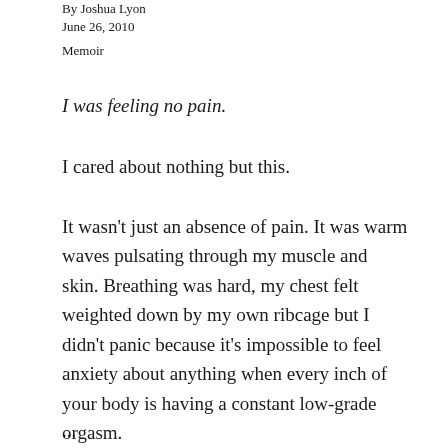By Joshua Lyon
June 26, 2010
Memoir
I was feeling no pain.
I cared about nothing but this.
It wasn't just an absence of pain. It was warm waves pulsating through my muscle and skin. Breathing was hard, my chest felt weighted down by my own ribcage but I didn't panic because it's impossible to feel anxiety about anything when every inch of your body is having a constant low-grade orgasm.
...